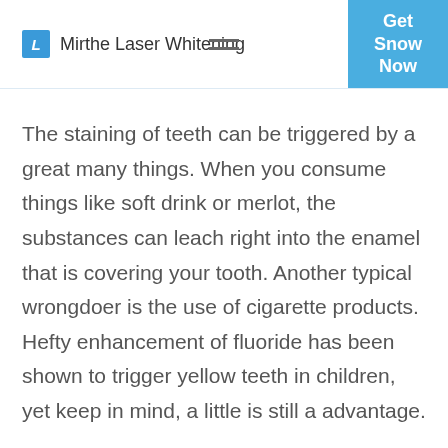Mirthe Laser Whitening
The staining of teeth can be triggered by a great many things. When you consume things like soft drink or merlot, the substances can leach right into the enamel that is covering your tooth. Another typical wrongdoer is the use of cigarette products. Hefty enhancement of fluoride has been shown to trigger yellow teeth in children, yet keep in mind, a little is still a advantage.